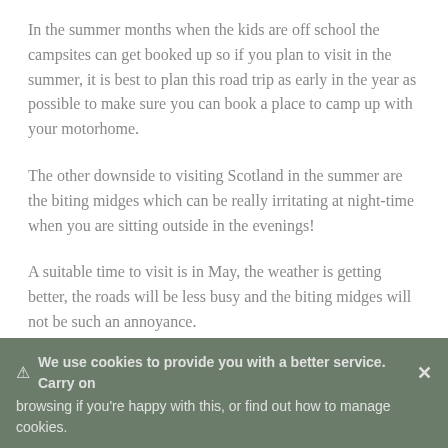In the summer months when the kids are off school the campsites can get booked up so if you plan to visit in the summer, it is best to plan this road trip as early in the year as possible to make sure you can book a place to camp up with your motorhome.
The other downside to visiting Scotland in the summer are the biting midges which can be really irritating at night-time when you are sitting outside in the evenings!
A suitable time to visit is in May, the weather is getting better, the roads will be less busy and the biting midges will not be such an annoyance.
⚠ We use cookies to provide you with a better service. Carry on × browsing if you're happy with this, or find out how to manage cookies.